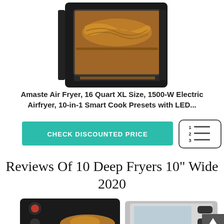[Figure (photo): Air fryer oven with glass door showing food inside (appears to be pasta/noodles), black exterior, viewed from front-top angle against white background]
Amaste Air Fryer, 16 Quart XL Size, 1500-W Electric Airfryer, 10-in-1 Smart Cook Presets with LED...
[Figure (other): Teal/green button labeled CHECK DISCOUNTED PRICE]
[Figure (other): Numbered list icon inside a rounded rectangle border showing 1, 2, 3 with horizontal lines]
Reviews Of 10 Deep Fryers 10" Wide 2020
[Figure (photo): Deep fryer appliance showing fried food, black control knobs on left side and silver/stainless body on right]